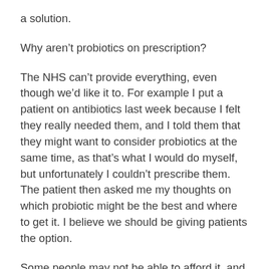a solution.
Why aren’t probiotics on prescription?
The NHS can’t provide everything, even though we’d like it to. For example I put a patient on antibiotics last week because I felt they really needed them, and I told them that they might want to consider probiotics at the same time, as that’s what I would do myself, but unfortunately I couldn’t prescribe them. The patient then asked me my thoughts on which probiotic might be the best and where to get it. I believe we should be giving patients the option.
Some people may not be able to afford it, and yes that saddens me as a doctor, but it’s cutting edge research that has a real potential for positive change. The